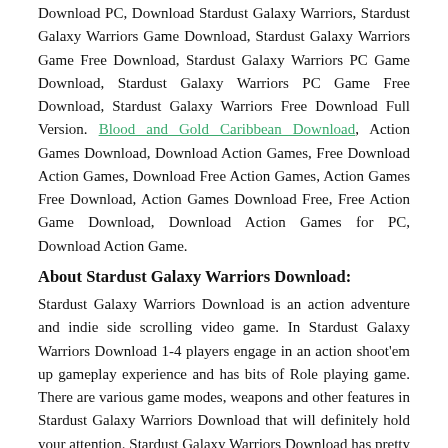Download PC, Download Stardust Galaxy Warriors, Stardust Galaxy Warriors Game Download, Stardust Galaxy Warriors Game Free Download, Stardust Galaxy Warriors PC Game Download, Stardust Galaxy Warriors PC Game Free Download, Stardust Galaxy Warriors Free Download Full Version. Blood and Gold Caribbean Download, Action Games Download, Download Action Games, Free Download Action Games, Download Free Action Games, Action Games Free Download, Action Games Download Free, Free Action Game Download, Download Action Games for PC, Download Action Game.
About Stardust Galaxy Warriors Download:
Stardust Galaxy Warriors Download is an action adventure and indie side scrolling video game. In Stardust Galaxy Warriors Download 1-4 players engage in an action shoot'em up gameplay experience and has bits of Role playing game. There are various game modes, weapons and other features in Stardust Galaxy Warriors Download that will definitely hold your attention. Stardust Galaxy Warriors Download has pretty decent graphics and very